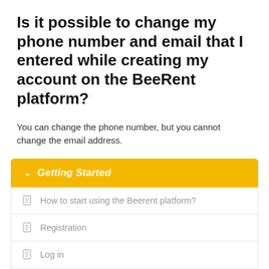Is it possible to change my phone number and email that I entered while creating my account on the BeeRent platform?
You can change the phone number, but you cannot change the email address.
Getting Started
How to start using the Beerent platform?
Registration
Log in
Account Settings
FAQ